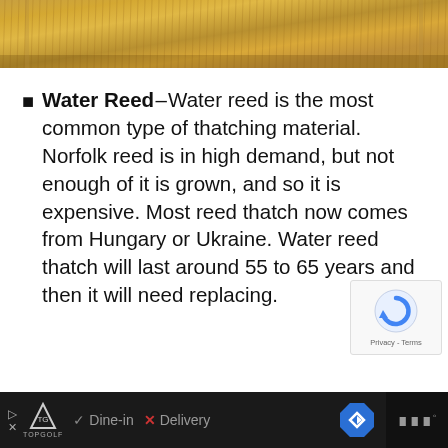[Figure (photo): Close-up photo of golden/amber thatching reeds viewed from above, densely packed straw material]
Water Reed – Water reed is the most common type of thatching material. Norfolk reed is in high demand, but not enough of it is grown, and so it is expensive. Most reed thatch now comes from Hungary or Ukraine. Water reed thatch will last around 55 to 65 years and then it will need replacing.
[Figure (other): reCAPTCHA widget overlay showing spinning arrow logo with Privacy - Terms links]
▷ [TopGolf logo] ✓ Dine-in  ✕ Delivery  [navigation arrow icon]  [menu icon]°